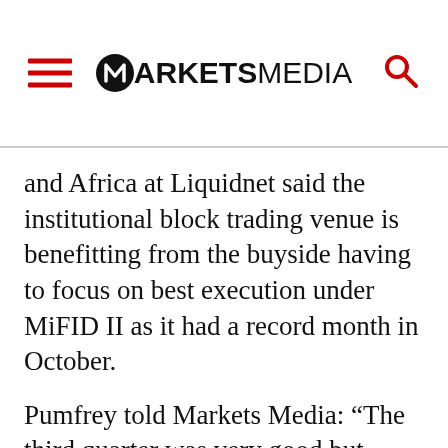MARKETS MEDIA
and Africa at Liquidnet said the institutional block trading venue is benefitting from the buyside having to focus on best execution under MiFID II as it had a record month in October.
Pumfrey told Markets Media: “The third quarter was very good but October has been our best ever month with a 26% increase on our previous best ever month. MiFID II shifts best execution responsibility to the buyside